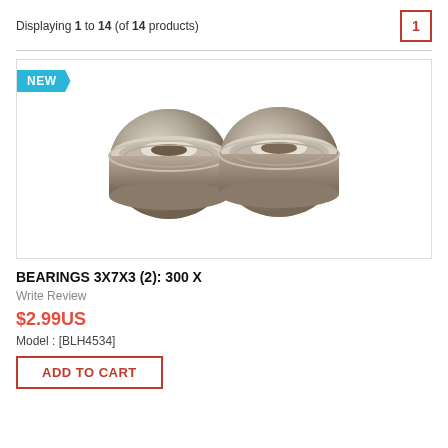Displaying 1 to 14 (of 14 products)
[Figure (photo): Two small metallic ball bearings (3x7x3mm) side by side, showing circular chrome steel construction with inner ring visible]
BEARINGS 3X7X3 (2): 300 X
Write Review
$2.99US
Model : [BLH4534]
ADD TO CART